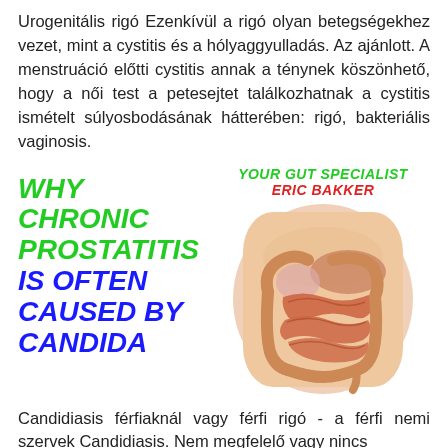Urogenitális rigó Ezenkívül a rigó olyan betegségekhez vezet, mint a cystitis és a hólyaggyulladás. Az ajánlott. A menstruáció előtti cystitis annak a ténynek köszönhető, hogy a női test a petesejtet találkozhatnak a cystitis ismételt súlyosbodásának hátterében: rigó, bakteriális vaginosis.
[Figure (illustration): Promotional image for 'Why Chronic Prostatitis Is Often Caused By Candida' by Your Gut Specialist Eric Bakker. Left side shows bold italic text in green and blue. Right side shows a medical illustration of the human digestive system (intestines and organs) on a torso background.]
Candidiasis férfiaknál vagy férfi rigó - a férfi nemi szervek Candidiasis. Nem megfelelő vagy nincs